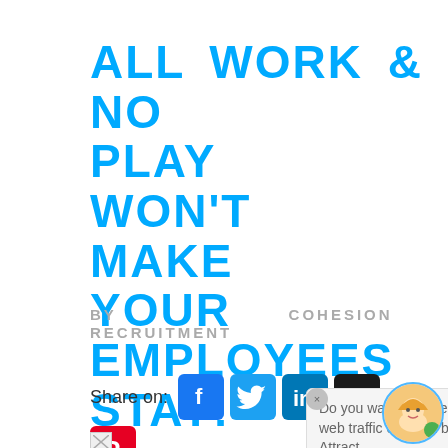ALL WORK & NO PLAY WON'T MAKE YOUR EMPLOYEES STAY!
BY COHESION RECRUITMENT
Share on:
[Figure (other): Social media share icons: Facebook, Twitter, LinkedIn, Digg, Pinterest]
Do you want to generate leads, web traffic or event bookings? Attract...
[Figure (illustration): Cartoon avatar of a woman with blonde hair]